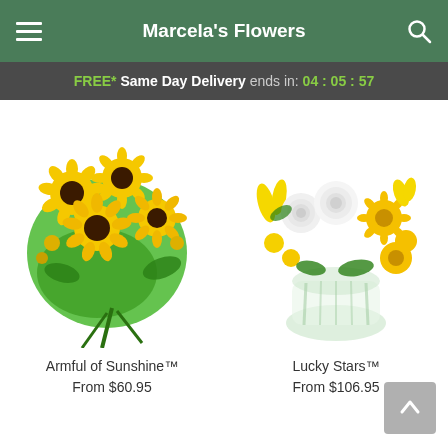Marcela's Flowers
FREE* Same Day Delivery ends in: 04:05:57
[Figure (photo): Armful of Sunshine bouquet - large sunflowers wrapped in bright green paper]
Armful of Sunshine™
From $60.95
[Figure (photo): Lucky Stars arrangement - white roses and yellow flowers in a round glass vase]
Lucky Stars™
From $106.95